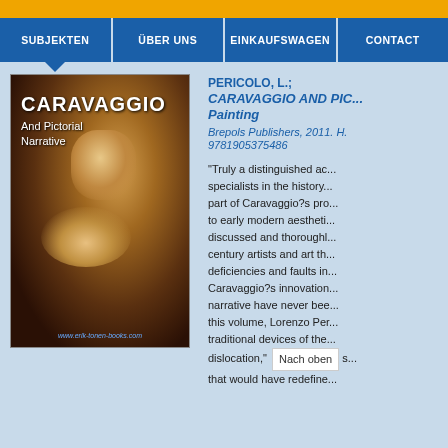SUBJEKTEN | ÜBER UNS | EINKAUFSWAGEN | CONTACT
[Figure (photo): Book cover of 'Caravaggio and Pictorial Narrative' showing a painting of a bearded elderly man with dramatic Baroque lighting, URL: www.erik-tonen-books.com]
PERICOLO, L.; CARAVAGGIO AND PICTORIAL NARRATIVE: Dislocating the Istoria in Altarpiece Painting
Brepols Publishers, 2011. H. 9781905375486
"Truly a distinguished ac... specialists in the history... part of Caravaggio?s pro... to early modern aestheti... discussed and thoroughl... century artists and art th... deficiencies and faults in... Caravaggio?s innovation... narrative have never bee... this volume, Lorenzo Per... traditional devices of the... dislocation," ... Nach oben ... s... that would have redefine...